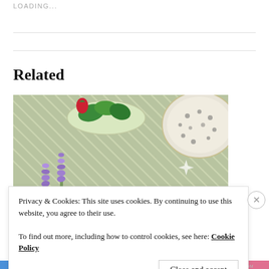LOADING...
Related
[Figure (photo): Overhead view of food items including herbs, a bowl with berries/strawberries, and a spotted bowl, on a green striped tablecloth with purple lavender flowers.]
Privacy & Cookies: This site uses cookies. By continuing to use this website, you agree to their use.
To find out more, including how to control cookies, see here: Cookie Policy
Close and accept